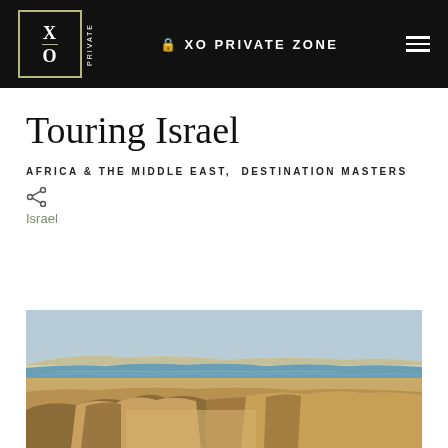XO PRIVATE ZONE
Touring Israel
AFRICA & THE MIDDLE EAST,  DESTINATION MASTERS
Israel
[Figure (photo): Aerial landscape photograph showing the Dead Sea and surrounding arid desert terrain with rocky cliffs and mountains in the foreground, Israel]